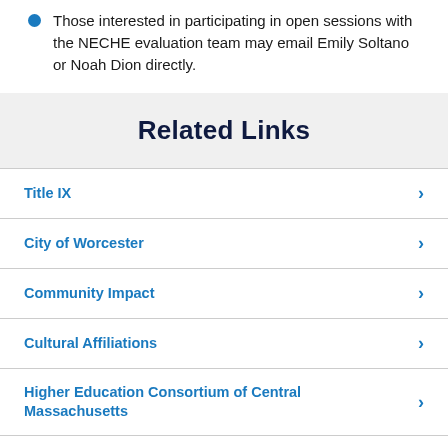Those interested in participating in open sessions with the NECHE evaluation team may email Emily Soltano or Noah Dion directly.
Related Links
Title IX
City of Worcester
Community Impact
Cultural Affiliations
Higher Education Consortium of Central Massachusetts